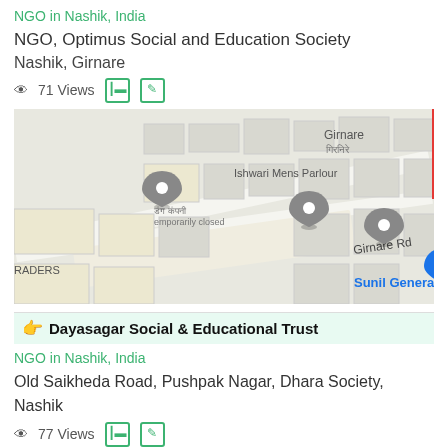NGO in Nashik, India
NGO, Optimus Social and Education Society
Nashik, Girnare
71 Views
[Figure (map): Google Maps screenshot showing Girnare area in Nashik with location pins for Ishwari Mens Parlour, Sunil General Stores, and other landmarks along Girnare Rd.]
Dayasagar Social & Educational Trust
NGO in Nashik, India
Old Saikheda Road, Pushpak Nagar, Dhara Society, Nashik
77 Views